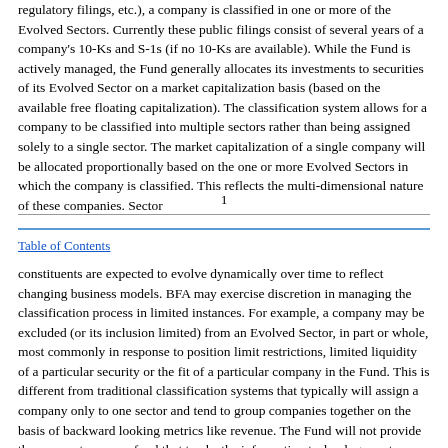regulatory filings, etc.), a company is classified in one or more of the Evolved Sectors. Currently these public filings consist of several years of a company's 10-Ks and S-1s (if no 10-Ks are available). While the Fund is actively managed, the Fund generally allocates its investments to securities of its Evolved Sector on a market capitalization basis (based on the available free floating capitalization). The classification system allows for a company to be classified into multiple sectors rather than being assigned solely to a single sector. The market capitalization of a single company will be allocated proportionally based on the one or more Evolved Sectors in which the company is classified. This reflects the multi-dimensional nature of these companies. Sector
1
Table of Contents
constituents are expected to evolve dynamically over time to reflect changing business models. BFA may exercise discretion in managing the classification process in limited instances. For example, a company may be excluded (or its inclusion limited) from an Evolved Sector, in part or whole, most commonly in response to position limit restrictions, limited liquidity of a particular security or the fit of a particular company in the Fund. This is different from traditional classification systems that typically will assign a company only to one sector and tend to group companies together on the basis of backward looking metrics like revenue. The Fund will not provide the same returns as a fund that tracks the information technology sector as traditionally defined by other classification systems and as a result may not be appropriate for an investor seeking the same